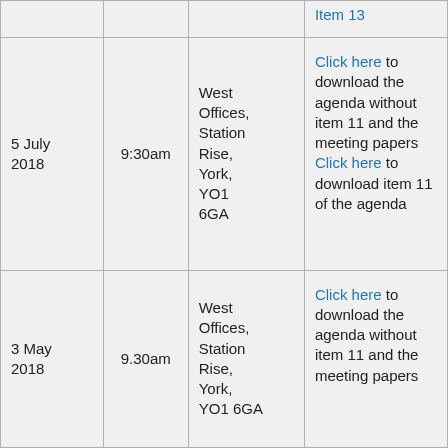| Date | Time | Location | Documents |
| --- | --- | --- | --- |
|  |  |  | Item 13 [link] |
| 5 July 2018 | 9:30am | West Offices, Station Rise, York, YO1 6GA | Click here to download the agenda without item 11 and the meeting papers Click here to download item 11 of the agenda |
| 3 May 2018 | 9.30am | West Offices, Station Rise, York, YO1 6GA | Click here to download the agenda without item 11 and the meeting papers |